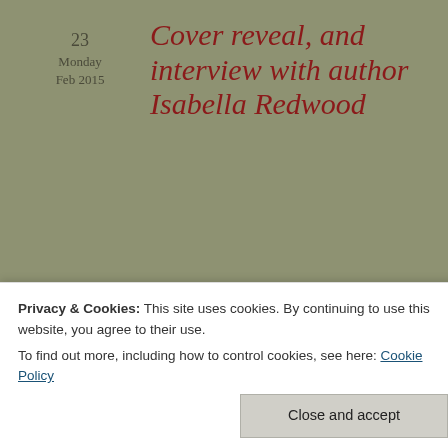23
Monday
Feb 2015
Cover reveal, and interview with author Isabella Redwood
Posted by Maiden Ink in Blog tour, Giveaway, writing
≈ Leave a comment
I'm pleased to welcome Isabella Redwood author of the NA romantic thriller In The End.
Tags
[Figure (photo): Photo of a person with auburn/red hair, partially visible]
Privacy & Cookies: This site uses cookies. By continuing to use this website, you agree to their use.
To find out more, including how to control cookies, see here: Cookie Policy
Close and accept